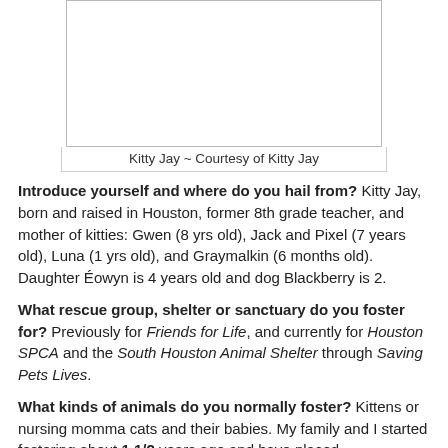[Figure (photo): Photograph of Kitty Jay, shown in a bordered box]
Kitty Jay ~ Courtesy of Kitty Jay
Introduce yourself and where do you hail from? Kitty Jay, born and raised in Houston, former 8th grade teacher, and mother of kitties: Gwen (8 yrs old), Jack and Pixel (7 years old), Luna (1 yrs old), and Graymalkin (6 months old). Daughter Éowyn is 4 years old and dog Blackberry is 2.
What rescue group, shelter or sanctuary do you foster for? Previously for Friends for Life, and currently for Houston SPCA and the South Houston Animal Shelter through Saving Pets Lives.
What kinds of animals do you normally foster? Kittens or nursing momma cats and their babies. My family and I started fostering about 1 1/2 years ago and have placed...